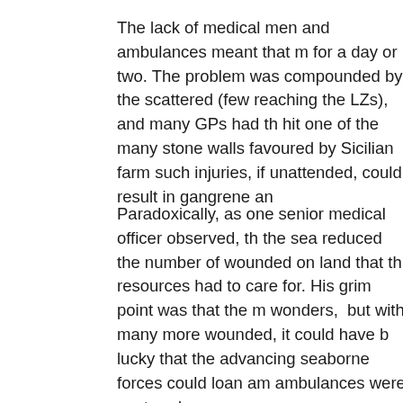The lack of medical men and ambulances meant that m for a day or two. The problem was compounded by the scattered (few reaching the LZs), and many GPs had th hit one of the many stone walls favoured by Sicilian farm such injuries, if unattended, could result in gangrene an
Paradoxically, as one senior medical officer observed, th the sea reduced the number of wounded on land that th resources had to care for. His grim point was that the m wonders, but with many more wounded, it could have b lucky that the advancing seaborne forces could loan am ambulances were captured.
In the case of Glider 70, the British glider pilot and six R picked up by HMS Beaufort, a destroyer on anti-submar had spotted gliders in the water the night before, but she well up, some nine hours later. Many glider men must ha potential rescuers had higher priorities in the brutal busi